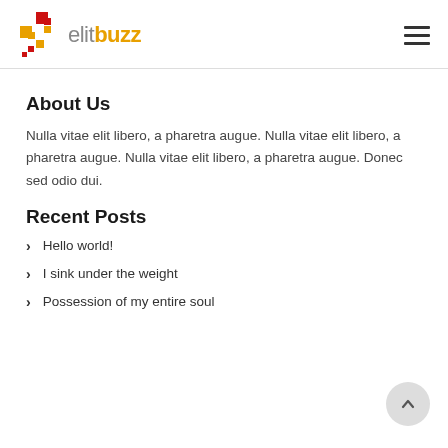elitbuzz
About Us
Nulla vitae elit libero, a pharetra augue. Nulla vitae elit libero, a pharetra augue. Nulla vitae elit libero, a pharetra augue. Donec sed odio dui.
Recent Posts
Hello world!
I sink under the weight
Possession of my entire soul